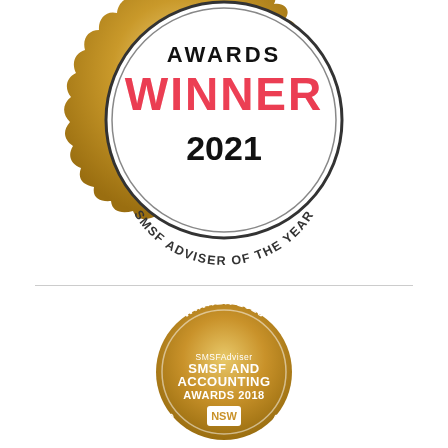[Figure (logo): Awards winner badge 2021 - SMSF Adviser of the Year. Gold scalloped circular badge with black border, showing 'AWARDS' in black, 'WINNER' in red bold, '2021' in black bold, and 'SMSF ADVISER OF THE YEAR' curved along the bottom inside the badge.]
[Figure (logo): Winner 2018 circular gold badge - SMSFAdviser SMSF and Accounting Awards 2018, NSW SMSF Adviser of the Year. Gold circle with white text and a white NSW shield logo in the center bottom.]